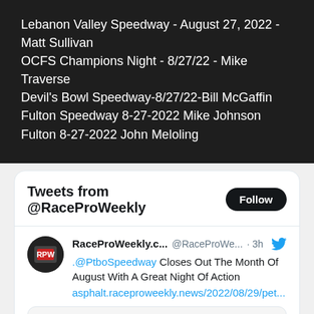Lebanon Valley Speedway - August 27, 2022 - Matt Sullivan
OCFS Champions Night - 8/27/22 - Mike Traverse
Devil's Bowl Speedway-8/27/22-Bill McGaffin
Fulton Speedway 8-27-2022 Mike Johnson
Fulton 8-27-2022 John Meloling
Tweets from @RaceProWeekly
RaceProWeekly.c... @RaceProWe... · 3h
.@PtboSpeedway Closes Out The Month Of August With A Great Night Of Action
asphalt.raceproweekly.news/2022/08/29/pet...